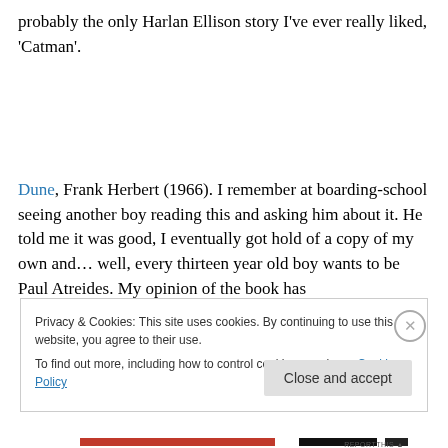probably the only Harlan Ellison story I've ever really liked, 'Catman'.
Dune, Frank Herbert (1966). I remember at boarding-school seeing another boy reading this and asking him about it. He told me it was good, I eventually got hold of a copy of my own and… well, every thirteen year old boy wants to be Paul Atreides. My opinion of the book has
Privacy & Cookies: This site uses cookies. By continuing to use this website, you agree to their use.
To find out more, including how to control cookies, see here: Cookie Policy
Close and accept